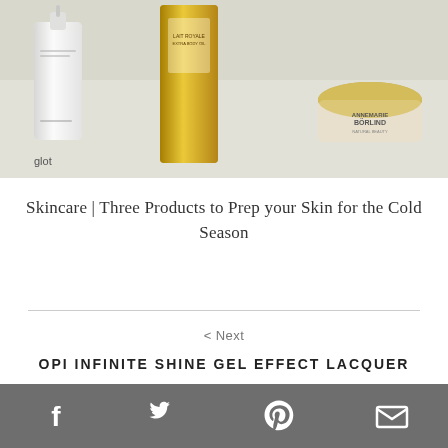[Figure (photo): Three skincare products laid on a white surface: a white pump bottle on the left, a tall yellow/gold body oil bottle in the center (Lait Royale), and a cream jar (Annemarie Börlind Natural Beauty) on the right. The word 'glot' is visible in the bottom-left corner of the image.]
Skincare | Three Products to Prep your Skin for the Cold Season
< Next
OPI INFINITE SHINE GEL EFFECT LACQUER